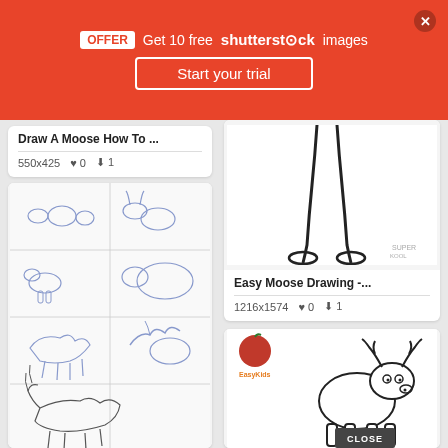[Figure (screenshot): Shutterstock promotional banner: OFFER Get 10 free shutterstock images, Start your trial button, close X]
Draw A Moose How To ...
550x425  ♥ 0  ⬇ 1
[Figure (illustration): Step-by-step moose drawing tutorial in grid panels showing ovals, shapes, and final moose sketch]
[Figure (illustration): Easy moose drawing showing legs and hooves outline on white background]
Easy Moose Drawing -...
1216x1574  ♥ 0  ⬇ 1
[Figure (illustration): Simple cartoon moose drawing with apple logo watermark and CLOSE button overlay]
Simple Moose Drawing...